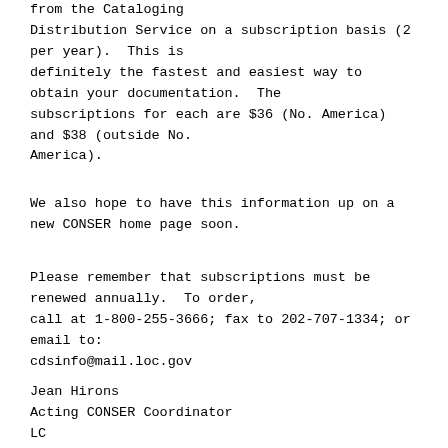from the Cataloging Distribution Service on a subscription basis (2 per year).  This is definitely the fastest and easiest way to obtain your documentation.  The subscriptions for each are $36 (No. America) and $38 (outside No. America).
We also hope to have this information up on a new CONSER home page soon.
Please remember that subscriptions must be renewed annually.  To order, call at 1-800-255-3666; fax to 202-707-1334; or email to:
cdsinfo@mail.loc.gov
Jean Hirons
Acting CONSER Coordinator
LC